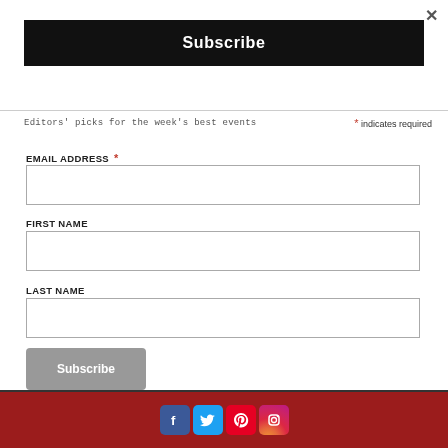×
Subscribe
Editors' picks for the week's best events
* indicates required
EMAIL ADDRESS *
FIRST NAME
LAST NAME
Subscribe
[Figure (infographic): Social media icons row: Facebook, Twitter, Pinterest, Instagram on a dark red bar]